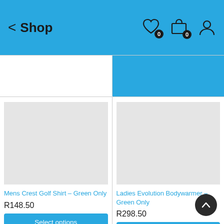Shop
[Figure (screenshot): Product image placeholder (grey rectangle) for Mens Crest Golf Shirt]
Mens Crest Golf Shirt – Green Only
R148.50
Select options
[Figure (screenshot): Product image placeholder (grey rectangle) for Ladies Evolution Bodywarmer]
Ladies Evolution Bodywarmer – Green Only
R298.50
Select options